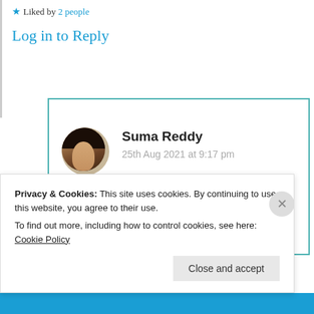★ Liked by 2 people
Log in to Reply
Suma Reddy
25th Aug 2021 at 9:17 pm
Thank you very much 😊 🙏
★ Like
Privacy & Cookies: This site uses cookies. By continuing to use this website, you agree to their use.
To find out more, including how to control cookies, see here: Cookie Policy
Close and accept